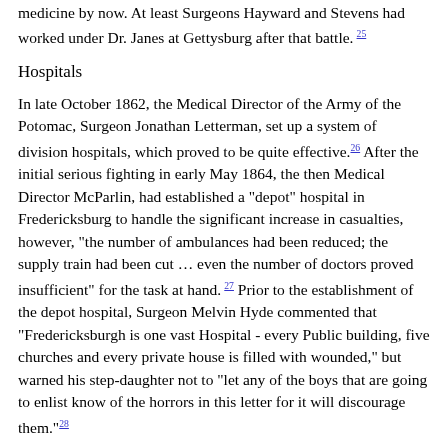medicine by now. At least Surgeons Hayward and Stevens had worked under Dr. Janes at Gettysburg after that battle. [25]
Hospitals
In late October 1862, the Medical Director of the Army of the Potomac, Surgeon Jonathan Letterman, set up a system of division hospitals, which proved to be quite effective.[26] After the initial serious fighting in early May 1864, the then Medical Director McParlin, had established a "depot" hospital in Fredericksburg to handle the significant increase in casualties, however, "the number of ambulances had been reduced; the supply train had been cut … even the number of doctors proved insufficient" for the task at hand.[27] Prior to the establishment of the depot hospital, Surgeon Melvin Hyde commented that "Fredericksburgh is one vast Hospital - every Public building, five churches and every private house is filled with wounded," but warned his step-daughter not to "let any of the boys that are going to enlist know of the horrors in this letter for it will discourage them."[28]
Six of the case studies provided enough detail to track the hospitals where the soldiers were treated, from the field, to division hospitals near the battlefield, to the hospitals in Frederick, back to the General Hospitals in Washington, Baltimore and Philadelphia, and on occasion to long-term care hospitals in Brattleboro, Burlington